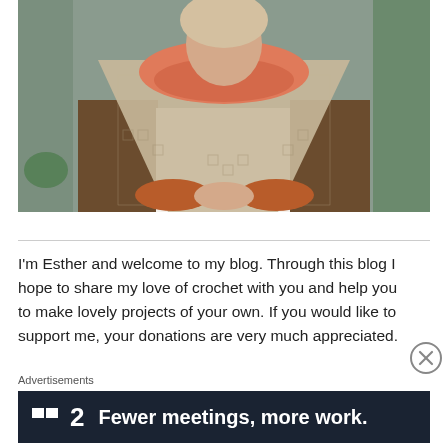[Figure (photo): A woman wearing a beige crochet lace shawl and an orange/coral infinity scarf, along with a brown and white colorblock sweater and rust-colored knit fingerless mitts. She is standing in front of a green door and brick wall with some greenery visible.]
I'm Esther and welcome to my blog. Through this blog I hope to share my love of crochet with you and help you to make lovely projects of your own. If you would like to support me, your donations are very much appreciated.
Advertisements
[Figure (screenshot): Dark navy advertisement banner with a two-square icon, the number 2, and the text 'Fewer meetings, more work.']